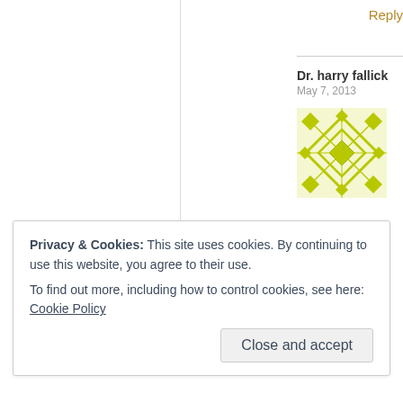Reply
Dr. harry fallick
May 7, 2013
[Figure (illustration): Yellow-green geometric patterned avatar square with diamond and star shapes]
Privacy & Cookies: This site uses cookies. By continuing to use this website, you agree to their use.
To find out more, including how to control cookies, see here: Cookie Policy
Close and accept